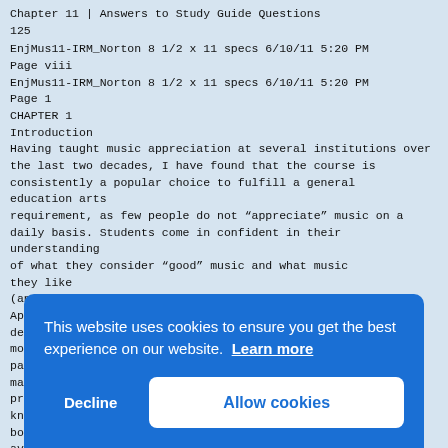Chapter 11 | Answers to Study Guide Questions
125
EnjMus11-IRM_Norton 8 1/2 x 11 specs 6/10/11 5:20 PM
Page viii
EnjMus11-IRM_Norton 8 1/2 x 11 specs 6/10/11 5:20 PM
Page 1
CHAPTER 1
Introduction
Having taught music appreciation at several institutions over
the last two decades, I have found that the course is consistently a popular choice to fulfill a general education arts
requirement, as few people do not “appreciate” music on a
daily basis. Students come in confident in their understanding
of what they consider “good” music and what music they like
(and don’t like).
Appreciating art music, however, understandably dema
more
part
many
prio
know
body
avai
anal
stud
given classroom is very difficult. The first few
weeks in a
This website uses cookies to ensure you get the best experience on our website. Learn more
Decline
Allow cookies